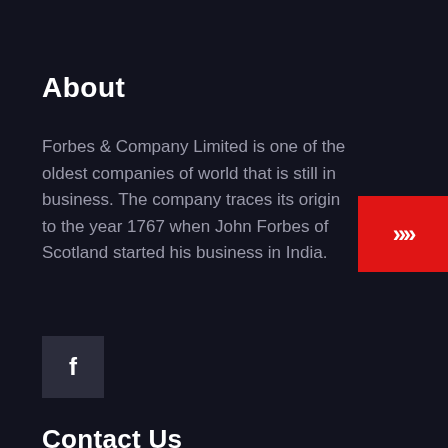About
Forbes & Company Limited is one of the oldest companies of world that is still in business. The company traces its origin to the year 1767 when John Forbes of Scotland started his business in India.
[Figure (logo): Red button with double right-pointing chevrons (>>)]
[Figure (logo): Dark grey square with Facebook 'f' icon]
Contact Us
Forbes & Company Limited, Forbes Bu Charanjit Rai Marg, Fort, Mumbai - 400